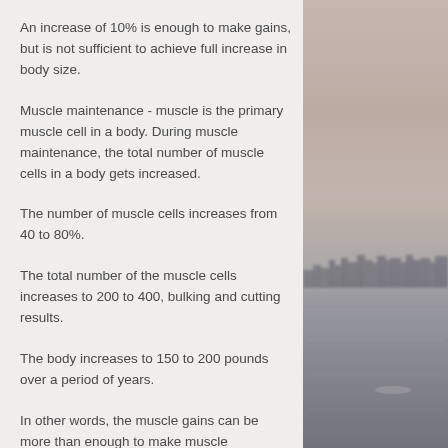An increase of 10% is enough to make gains, but is not sufficient to achieve full increase in body size.
Muscle maintenance - muscle is the primary muscle cell in a body. During muscle maintenance, the total number of muscle cells in a body gets increased.
The number of muscle cells increases from 40 to 80%.
The total number of the muscle cells increases to 200 to 400, bulking and cutting results.
The body increases to 150 to 200 pounds over a period of years.
In other words, the muscle gains can be more than enough to make muscle
[Figure (photo): Background photograph showing a misty coastal or ocean landscape with a cityscape silhouette visible through haze, grayscale tones.]